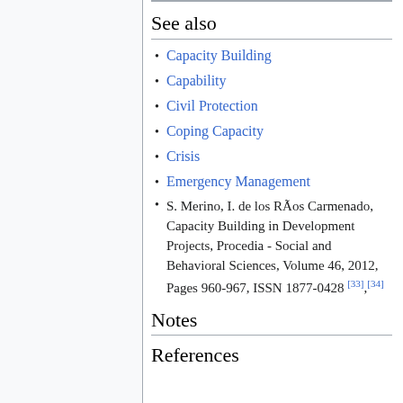See also
Capacity Building
Capability
Civil Protection
Coping Capacity
Crisis
Emergency Management
S. Merino, I. de los RÃos Carmenado, Capacity Building in Development Projects, Procedia - Social and Behavioral Sciences, Volume 46, 2012, Pages 960-967, ISSN 1877-0428 [33],[34]
Notes
References